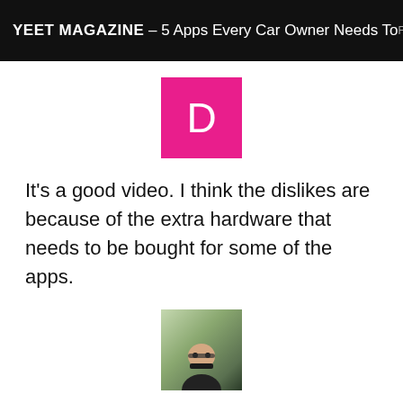YEET MAGAZINE – 5 Apps Every Car Owner Needs To
[Figure (illustration): Pink square avatar with white letter D in the center]
It's a good video. I think the dislikes are because of the extra hardware that needs to be bought for some of the apps.
[Figure (photo): Photo of a person wearing sunglasses outdoors]
Hey, are you connecting your phone through the USB cable meant to connect to android? So, most android auto/apple car play music systems have 2 USB cables